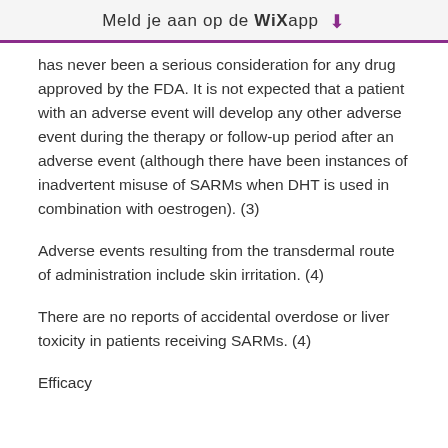Meld je aan op de WiX app
has never been a serious consideration for any drug approved by the FDA. It is not expected that a patient with an adverse event will develop any other adverse event during the therapy or follow-up period after an adverse event (although there have been instances of inadvertent misuse of SARMs when DHT is used in combination with oestrogen). (3)
Adverse events resulting from the transdermal route of administration include skin irritation. (4)
There are no reports of accidental overdose or liver toxicity in patients receiving SARMs. (4)
Efficacy